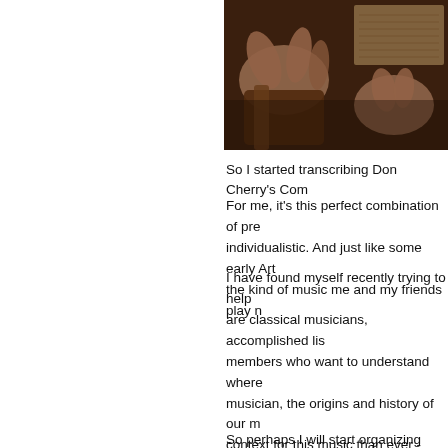[Figure (photo): Sepia-toned photograph of hands holding or playing a musical instrument, possibly a guitar or stringed instrument, with sheet music visible in the background.]
So I started transcribing Don Cherry's Com
For me, it's this perfect combination of pre individualistic. And just like some early Art the kind of music me and my friends play n
I have found myself recently trying to help are classical musicians, accomplished lis members who want to understand where musician, the origins and history of our m context for this music than ever - even tho than what the Art Ensemble was doing 4 listeners to understand this stuff. The ave bigger part of the music sphere, had muc mean they liked it, but they got it!
So perhaps I will start organizing these s Listening," to help expose our roots, so to the coattails of the masters to boost your of this great music as a way to bring peop doing. So maybe this is a call for a new